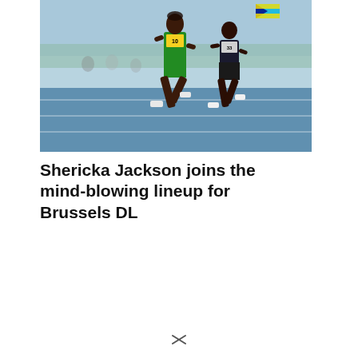[Figure (photo): Two female sprinters running on a blue athletics track. The lead runner wears a green and yellow Jamaica uniform with bib number 10. The second runner wears a dark uniform with bib number 33. Bahamas flag visible in background.]
Shericka Jackson joins the mind-blowing lineup for Brussels DL